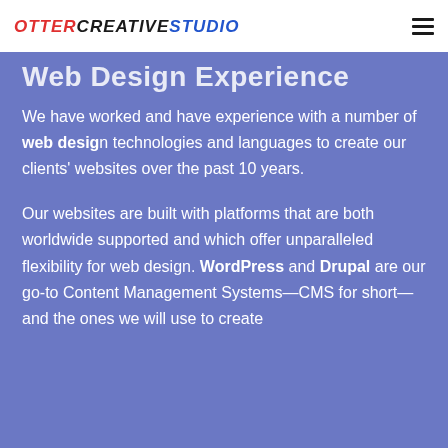OTTERCREATIVESTUDIO [logo] + hamburger menu
Web Design Experience
We have worked and have experience with a number of web design technologies and languages to create our clients' websites over the past 10 years.
Our websites are built with platforms that are both worldwide supported and which offer unparalleled flexibility for web design. WordPress and Drupal are our go-to Content Management Systems—CMS for short—and the ones we will use to create